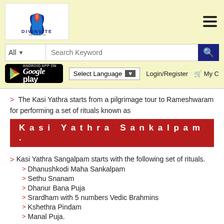[Figure (logo): Divinvite Yagra Puja logo with lotus flower and flame design]
[Figure (screenshot): Search bar with All dropdown and Search Keyword placeholder]
[Figure (logo): Google Play store badge - Android App On]
Select Language
Login/Register
My C
The Kasi Yathra starts from a pilgrimage tour to Rameshwaram for performing a set of rituals known as
Kasi Yathra Sankalpam.
Kasi Yathra Sangalpam starts with the following set of rituals.
Dhanushkodi Maha Sankalpam
Sethu Snanam
Dhanur Bana Puja
Srardham with 5 numbers Vedic Brahmins
Kshethra Pindam
Manal Puja.